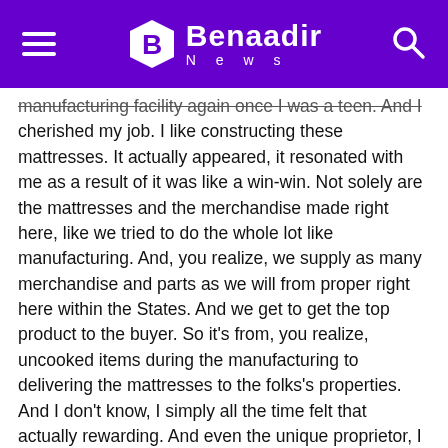Benaadir News
manufacturing facility again once I was a teen. And I cherished my job. I like constructing these mattresses. It actually appeared, it resonated with me as a result of it was like a win-win. Not solely are the mattresses and the merchandise made right here, like we tried to do the whole lot like manufacturing. And, you realize, we supply as many merchandise and parts as we will from proper right here within the States. And we get to get the top product to the buyer. So it’s from, you realize, uncooked items during the manufacturing to delivering the mattresses to the folks’s properties. And I don’t know, I simply all the time felt that actually rewarding. And even the unique proprietor, I had a lot respect for him. He was so trustworthy in the whole lot. He was all the time scratching his head, “What’s higher, what’s higher?” We all the time strived, “How can we enhance? How can we make this higher? What’s a greater course of?” Like we by no means simply sat again and mentioned, “That’s ok.” I cherished the corporate from day one.
After which once I was 24, I’d talked about to the